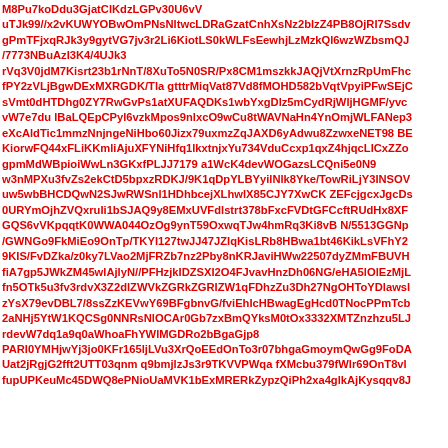M8Pu7koDdu3GjatClKdzLGPv30U6vV
uTJk99//x2vKUWYOBwOmPNsNltwcLDRaGzatCnhXsNz2blzZ4PB8OjRI7Ssdv
gPmTFjxqRJk3y9gytVG7jv3r2Li6KiotLS0kWLFsEewhjLzMzkQl6wzWZbsmQJ
/7773NBuAzI3K4/4UJk3
rVq3V0jdM7Kisrt23b1rNnT/8XuTo5N0SR/Px8CM1mszkkJAQjVtXrnzRpUmFhc
fPY2zVLjBgwDExMXRGDK/Tla gtttrMiqVat87Vd8fMOHD582bVqtVpyiPFwSEjC
sVmt0dHTDhg0ZY7RwGvPs1atXUFAQDKs1wbYxgDlz5mCydRjWljHGMF/yvc
vW7e7du lBaLQEpCPyl6vzkMpos9nlxcO9wCu8tWAVNaHn4YnOmjWLFANep3
eXcAldTic1mmzNnjngeNiHbo60Jizx79uxmzZqJAXD6yAdwu8ZzwxeNET98 BE
KiorwFQ44xFLiKKmliAjuXFYNiHfq1lkxtnjxYu734VduCcxp1qxZ4hjqcLICxZZo
gpmMdWBpioiWwLn3GKxfPLJJ7179 a1WcK4devWOGazsLCQni5e0N9
w3nMPXu3fvZs2ekCtD5bpxzRDKJ/9K1qDpYLBYyilNlk8Yke/TowRiLjY3INSOV
uw5wbBHCDQwN2SJwRWSnl1HDhbcejXLhwlX85CJY7XwCK ZEFcjgcxJgcDs
0URYmOjhZVQxruIi1bSJAQ9y8EMxUVFdlstrt378bFxcFVDtGFCcftRUdHx8XF
GQS6vVKpqqtK0WWA044OzOg9ynT59OxwqTJw4hmRq3Ki8vB N/5513GGNp
/GWNGo9FkMiEo9OnTp/TKYI127twJJ47JZIqKisLRb8HBwa1bt46KikLsVFhY2
9KIS/FvDZka/z0ky7LVao2MjFRZb7nz2Pby8nKRJaviHWw22507dyZMmFBUVH
fiA7gp5JWkZM45wlAjlyN//PFHzjkIDZSXI2O4FJvavHnzDh06NG/eHA5lOlEzMjL
fn5OTk5u3fv3rdvX3Z2dlZWVkZGRkZGRIZW1qFDhzZu3Dh27NgOHToYDlawsl
zYsX79evDBL7/8ssZzKEVwY69BFgbnvG/fviEhIcHBwagEgHcd0TNocPPmTcb
2aNHj5YtW1KQCSg0NNRsNlOCAr0Gb7zxBmQYksM0tOx3332XMTZnzhzu5LJ
rdevW7dq1a9q0aWhoaFhYWlMGDRo2bBgaGjp8
PARI0YMHjwYj3jo0KFr165ljLVu3XrQoEEdOnTo3r07bhgaGmoymQwGg9FoDA
Uat2jRgjG2fft2UTT03qnm q9bmjlzJs3r9TKVVPWqa fXMcbu379fWlr69OnT8vl
fupUPKeuMc45DWQ8ePNioUaMVK1bExMRERkZypzQiPh2xa4glkAjKysqqv8J